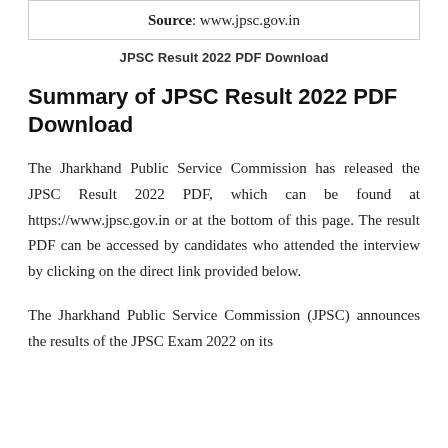Source: www.jpsc.gov.in
JPSC Result 2022 PDF Download
Summary of JPSC Result 2022 PDF Download
The Jharkhand Public Service Commission has released the JPSC Result 2022 PDF, which can be found at https://www.jpsc.gov.in or at the bottom of this page. The result PDF can be accessed by candidates who attended the interview by clicking on the direct link provided below.
The Jharkhand Public Service Commission (JPSC) announces the results of the JPSC Exam 2022 on its